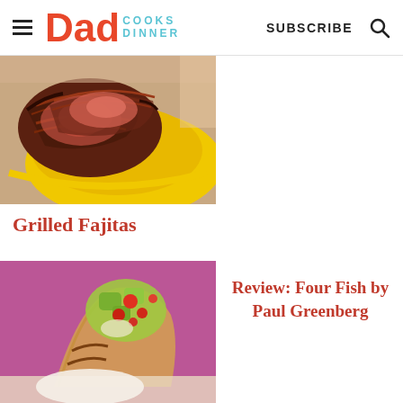Dad Cooks Dinner | SUBSCRIBE
[Figure (photo): Sliced grilled fajita meat in a yellow bowl, close-up food photo]
Grilled Fajitas
[Figure (photo): Fish tacos with colorful fruit/vegetable salsa topping on a pink background]
Review: Four Fish by Paul Greenberg